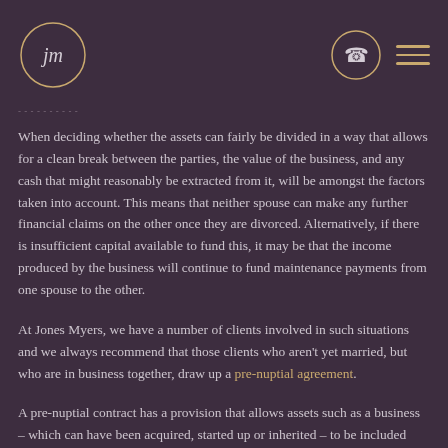Jones Myers logo and navigation header
When deciding whether the assets can fairly be divided in a way that allows for a clean break between the parties, the value of the business, and any cash that might reasonably be extracted from it, will be amongst the factors taken into account. This means that neither spouse can make any further financial claims on the other once they are divorced. Alternatively, if there is insufficient capital available to fund this, it may be that the income produced by the business will continue to fund maintenance payments from one spouse to the other.
At Jones Myers, we have a number of clients involved in such situations and we always recommend that those clients who aren't yet married, but who are in business together, draw up a pre-nuptial agreement.
A pre-nuptial contract has a provision that allows assets such as a business – which can have been acquired, started up or inherited – to be included within the agreement. This means that the parties can agree how the business should feature in the financial issues to be resolved upon a future separation or